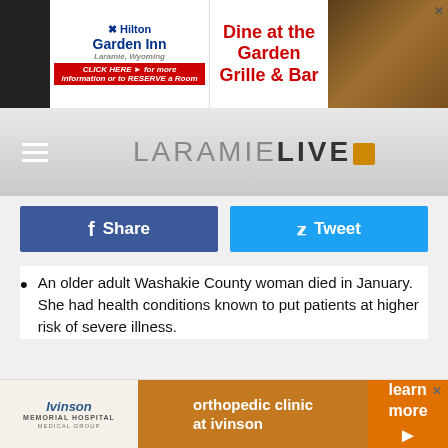[Figure (screenshot): Hilton Garden Inn advertisement banner with 'Dine at the Garden Grille & Bar' text and 'CLICK HERE for more information or to RESERVE a Room' button]
LARAMIE LIVE
[Figure (screenshot): Facebook Share button (blue) and Twitter Tweet button (light blue)]
An older adult Washakie County woman died in January. She had health conditions known to put patients at higher risk of severe illness.
[Figure (screenshot): Orthopedic clinic at ivinson advertisement with rock climber background image, listing Specialty-Trained Surgeons and Regular Clinic Hours]
[Figure (screenshot): Ivinson Memorial Hospital orthopedic clinic at ivinson bottom banner ad with 'learn more' button]